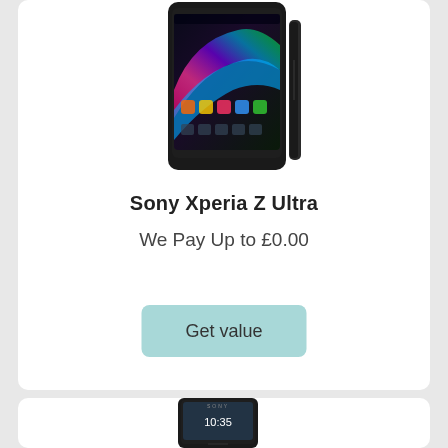[Figure (photo): Sony Xperia Z Ultra smartphone shown from front and side angle, black color]
Sony Xperia Z Ultra
We Pay Up to £0.00
Get value
[Figure (photo): Second smartphone product image, partially visible at bottom of page]